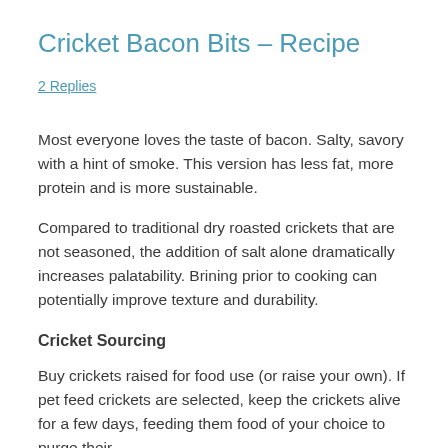Cricket Bacon Bits – Recipe
2 Replies
Most everyone loves the taste of bacon. Salty, savory with a hint of smoke. This version has less fat, more protein and is more sustainable.
Compared to traditional dry roasted crickets that are not seasoned, the addition of salt alone dramatically increases palatability. Brining prior to cooking can potentially improve texture and durability.
Cricket Sourcing
Buy crickets raised for food use (or raise your own). If pet feed crickets are selected, keep the crickets alive for a few days, feeding them food of your choice to purge their